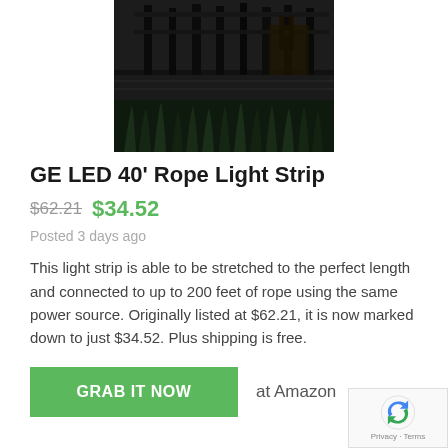[Figure (photo): Dark outdoor patio scene with metal railing/pergola structure, wooden furniture visible in background, grass/plants in foreground — product lifestyle photo for GE LED Rope Light Strip]
GE LED 40' Rope Light Strip
$62.21  $34.52
Posted 3 days ago
This light strip is able to be stretched to the perfect length and connected to up to 200 feet of rope using the same power source. Originally listed at $62.21, it is now marked down to just $34.52. Plus shipping is free.
GRAB IT NOW  at Amazon